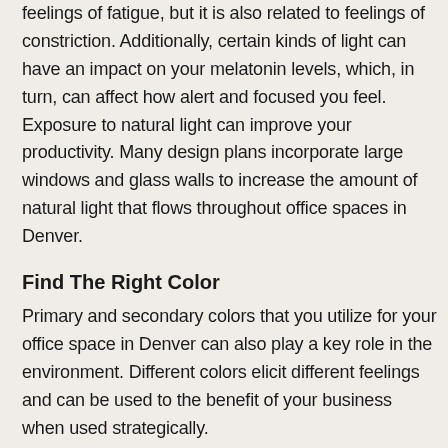has not only been shown to cause headaches and feelings of fatigue, but it is also related to feelings of constriction. Additionally, certain kinds of light can have an impact on your melatonin levels, which, in turn, can affect how alert and focused you feel. Exposure to natural light can improve your productivity. Many design plans incorporate large windows and glass walls to increase the amount of natural light that flows throughout office spaces in Denver.
Find The Right Color
Primary and secondary colors that you utilize for your office space in Denver can also play a key role in the environment. Different colors elicit different feelings and can be used to the benefit of your business when used strategically.